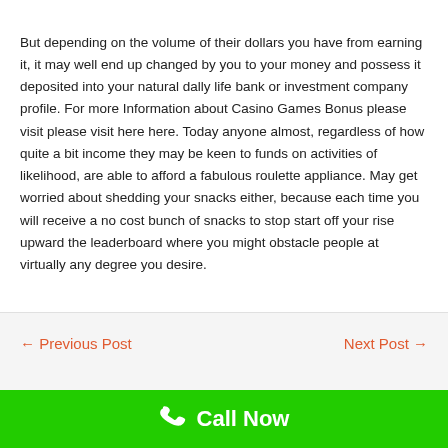But depending on the volume of their dollars you have from earning it, it may well end up changed by you to your money and possess it deposited into your natural dally life bank or investment company profile. For more Information about Casino Games Bonus please visit please visit here here. Today anyone almost, regardless of how quite a bit income they may be keen to funds on activities of likelihood, are able to afford a fabulous roulette appliance. May get worried about shedding your snacks either, because each time you will receive a no cost bunch of snacks to stop start off your rise upward the leaderboard where you might obstacle people at virtually any degree you desire.
← Previous Post    Next Post →
Call Now